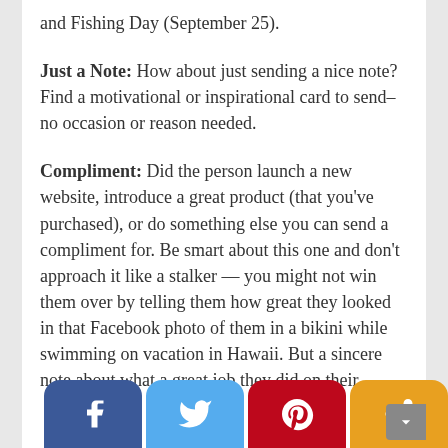and Fishing Day (September 25).
Just a Note: How about just sending a nice note? Find a motivational or inspirational card to send– no occasion or reason needed.
Compliment: Did the person launch a new website, introduce a great product (that you've purchased), or do something else you can send a compliment for. Be smart about this one and don't approach it like a stalker — you might not win them over by telling them how great they looked in that Facebook photo of them in a bikini while swimming on vacation in Hawaii. But a sincere note about what a great job they did on their [continues]
[Figure (infographic): Social sharing bar with four rounded buttons: Facebook (blue), Twitter (light blue), Pinterest (red), Share (orange)]